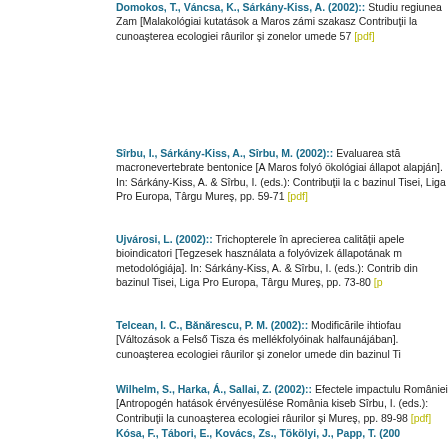Domokos, T., Váncsa, K., Sárkány-Kiss, A. (2002):: Studiu... regiunea Zam [Malakológiai kutatások a Maros zámi szakasz... Contribuţii la cunoaşterea ecologiei râurilor şi zonelor umede... 57 [pdf]
Sîrbu, I., Sárkány-Kiss, A., Sîrbu, M. (2002):: Evaluarea stă... macronevertebrate bentonice [A Maros folyó ökológiai állapot... alapján]. In: Sárkány-Kiss, A. & Sîrbu, I. (eds.): Contribuţii la c... bazinul Tisei, Liga Pro Europa, Târgu Mureş, pp. 59-71 [pdf]
Ujvárosi, L. (2002):: Trichopterele în aprecierea calităţii apele... bioindicatori [Tegzesek használata a folyóvizek állapotának m... metodológiája]. In: Sárkány-Kiss, A. & Sîrbu, I. (eds.): Contrib... din bazinul Tisei, Liga Pro Europa, Târgu Mureş, pp. 73-80 [p...
Telcean, I. C., Bănărescu, P. M. (2002):: Modificările ihtiofau... [Változások a Felső Tisza és mellékfolyóinak halfaunájában]... cunoaşterea ecologiei râurilor şi zonelor umede din bazinul Ti...
Wilhelm, S., Harka, Á., Sallai, Z. (2002):: Efectele impactulu... României [Antropogén hatások érvényesülése România kiseb... Sîrbu, I. (eds.): Contribuţii la cunoaşterea ecologiei râurilor şi... Mureş, pp. 89-98 [pdf]
Kósa, F., Tábori, E., Kovács, Zs., Tökölyi, J., Papp, T. (200... berze albe (Ciconia ciconia L.) în bazinul Someşului [A fehér... populációdinamikája a Szamos medencéjében]. In: Sárkány...